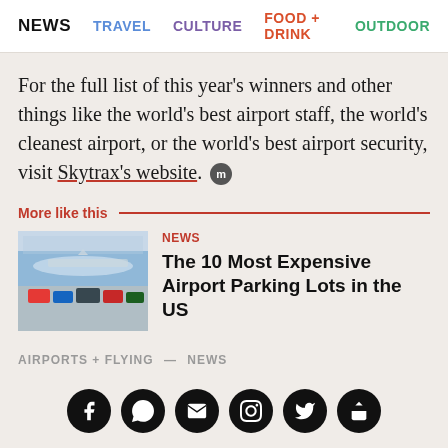NEWS  TRAVEL  CULTURE  FOOD + DRINK  OUTDOOR
For the full list of this year’s winners and other things like the world’s best airport staff, the world’s cleanest airport, or the world’s best airport security, visit Skytrax’s website.
More like this
[Figure (photo): Thumbnail photo of an airport parking lot with cars and a plane in background]
NEWS
The 10 Most Expensive Airport Parking Lots in the US
AIRPORTS + FLYING — NEWS